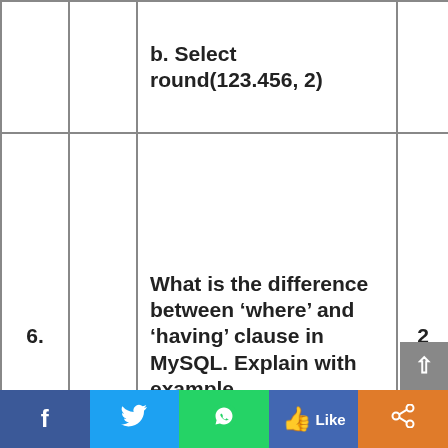| No. |  | Question | Marks |
| --- | --- | --- | --- |
|  |  | b. Select round(123.456, 2) |  |
| 6. |  | What is the difference between ‘where’ and ‘having’ clause in MySQL. Explain with example. | 2 |
| 7. |  | Mr. Rakesh created the following table ‘Student’ to store the details of students: |  |